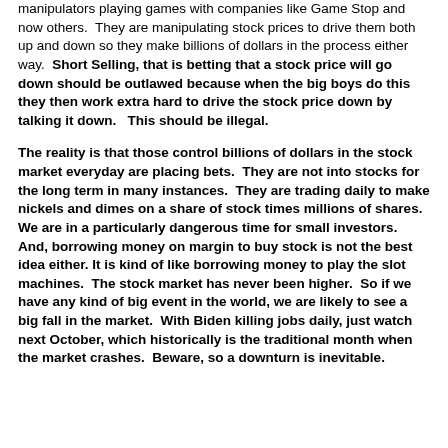manipulators playing games with companies like Game Stop and now others.  They are manipulating stock prices to drive them both up and down so they make billions of dollars in the process either way.  Short Selling, that is betting that a stock price will go down should be outlawed because when the big boys do this they then work extra hard to drive the stock price down by talking it down.   This should be illegal.
The reality is that those control billions of dollars in the stock market everyday are placing bets.  They are not into stocks for the long term in many instances.  They are trading daily to make nickels and dimes on a share of stock times millions of shares.   We are in a particularly dangerous time for small investors.  And, borrowing money on margin to buy stock is not the best idea either. It is kind of like borrowing money to play the slot machines.  The stock market has never been higher.  So if we have any kind of big event in the world, we are likely to see a big fall in the market.  With Biden killing jobs daily, just watch next October, which historically is the traditional month when the market crashes.  Beware, so a downturn is inevitable.